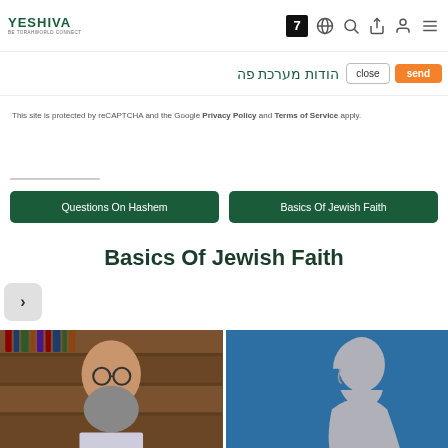YESHIVA — nav bar with logo, number 7 icon, globe, search, share, user, menu icons
הודות מערכת פה
close
send
This site is protected by reCAPTCHA and the Google Privacy Policy and Terms of Service apply.
Questions On Hashem
Basics Of Jewish Faith
Basics Of Jewish Faith
[Figure (photo): Rabbi with beard and glasses in front of bookshelves]
[Figure (illustration): Blue background with gray silhouette profile of a person]